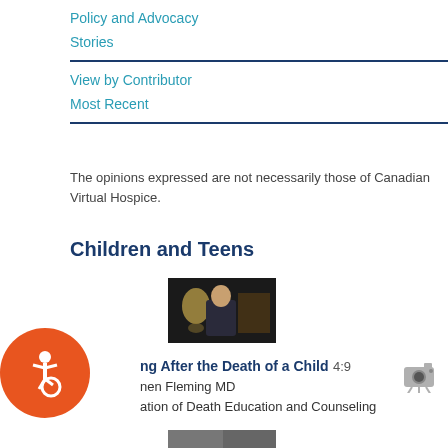Policy and Advocacy
Stories
View by Contributor
Most Recent
The opinions expressed are not necessarily those of Canadian Virtual Hospice.
Children and Teens
[Figure (photo): Video thumbnail showing a man seated in a room with a lamp in the background]
ng After the Death of a Child 4:9
nen Fleming MD
ation of Death Education and Counseling
[Figure (photo): Partial video thumbnail at bottom of page]